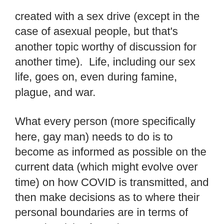created with a sex drive (except in the case of asexual people, but that's another topic worthy of discussion for another time).  Life, including our sex life, goes on, even during famine, plague, and war.
What every person (more specifically here, gay man) needs to do is to become as informed as possible on the current data (which might evolve over time) on how COVID is transmitted, and then make decisions as to where their personal boundaries are in terms of sexual activity, from the most conservative approach (no partner contact, relying on variations of masturbation only) to more expansive approaches, which might be possible under certain guidelines.  For example, most people would be very anxious to see groups of gay men (or anyone) congregating without masks or